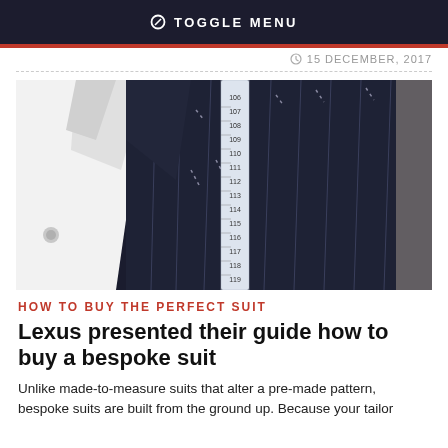TOGGLE MENU
15 DECEMBER, 2017
[Figure (photo): A dark navy pinstripe suit jacket on a mannequin with a white dress shirt collar visible and a tailor's measuring tape draped over it, showing measurements around 106-120.]
HOW TO BUY THE PERFECT SUIT
Lexus presented their guide how to buy a bespoke suit
Unlike made-to-measure suits that alter a pre-made pattern, bespoke suits are built from the ground up. Because your tailor